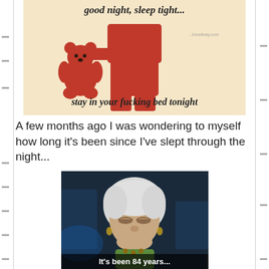[Figure (photo): A person in red pajamas holding a red teddy bear, with cursive text overlay reading 'good night, sleep tight...' at top and 'stay in your fucking bed tonight' at bottom. Appears to be a humorous meme image.]
A few months ago I was wondering to myself how long it's been since I've slept through the night...
[Figure (photo): An elderly white-haired woman looking downward with a tired/sad expression, with subtitle text overlay reading 'It's been 84 years...' — a reference to the movie Titanic. Used as a humorous meme reaction image.]